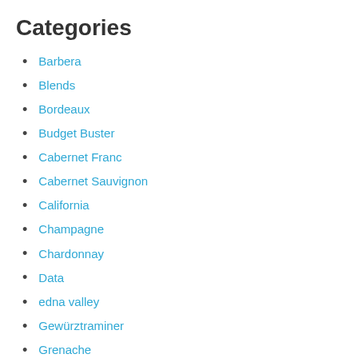Categories
Barbera
Blends
Bordeaux
Budget Buster
Cabernet Franc
Cabernet Sauvignon
California
Champagne
Chardonnay
Data
edna valley
Gewürztraminer
Grenache
Grenache Blanc
Interesting Fact
Malbec
Merlot
Money Saver